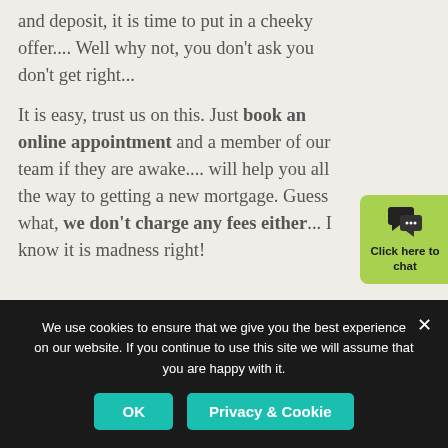and deposit, it is time to put in a cheeky offer.... Well why not, you don't ask you don't get right...
It is easy, trust us on this. Just book an online appointment and a member of our team if they are awake.... will help you all the way to getting a new mortgage. Guess what, we don't charge any fees either... I know it is madness right!
[Figure (other): Green chat widget button with speech bubble icon and text 'Click here to chat']
We use cookies to ensure that we give you the best experience on our website. If you continue to use this site we will assume that you are happy with it.